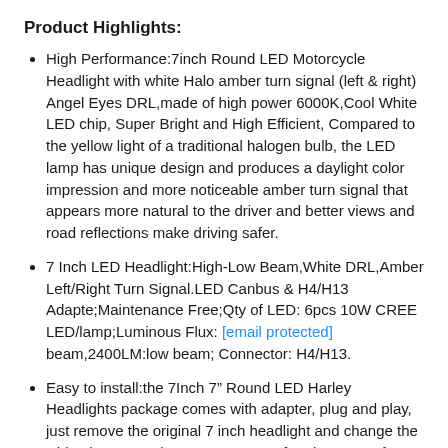Product Highlights:
High Performance:7inch Round LED Motorcycle Headlight with white Halo amber turn signal (left & right) Angel Eyes DRL,made of high power 6000K,Cool White LED chip, Super Bright and High Efficient, Compared to the yellow light of a traditional halogen bulb, the LED lamp has unique design and produces a daylight color impression and more noticeable amber turn signal that appears more natural to the driver and better views and road reflections make driving safer.
7 Inch LED Headlight:High-Low Beam,White DRL,Amber Left/Right Turn Signal.LED Canbus & H4/H13 Adapte;Maintenance Free;Qty of LED: 6pcs 10W CREE LED/lamp;Luminous Flux: [email protected] beam,2400LM:low beam; Connector: H4/H13.
Easy to install:the 7Inch 7" Round LED Harley Headlights package comes with adapter, plug and play, just remove the original 7 inch headlight and change the wiring harness adapters. Waterproof and Dustproof Shockproof , Die-cast AluminumAlloy back housing, PC Lens,long Life-span above 50,000hr. Improve the appearance of the motorcycle, even in harsh environments can work properly.